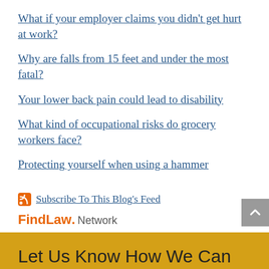What if your employer claims you didn't get hurt at work?
Why are falls from 15 feet and under the most fatal?
Your lower back pain could lead to disability
What kind of occupational risks do grocery workers face?
Protecting yourself when using a hammer
Subscribe To This Blog's Feed
FindLaw. Network
Let Us Know How We Can Help You
EMAIL US FOR A RESPONSE